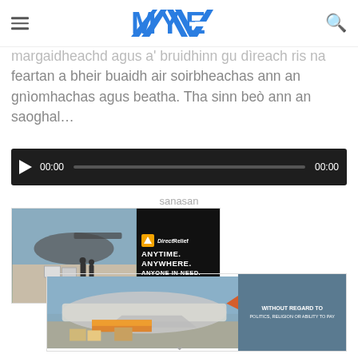MYE (logo)
margaidheachd agus a' bruidhinn gu dìreach ris na feartan a bheir buaidh air soirbheachas ann an gnìomhachas agus beatha. Tha sinn beò ann an saoghal…
[Figure (other): Audio player with play button, 00:00 timestamp, progress bar, and 00:00 end time on dark background]
sanasan
[Figure (other): Direct Relief advertisement banner: helicopter loading scene on left, black panel on right with DirectRelief logo and text ANYTIME. ANYWHERE. ANYONE IN NEED.]
[Figure (other): Second advertisement banner: cargo plane loading scene with text WITHOUT REGARD TO POLITICS, RELIGION OR ABILITY TO PAY]